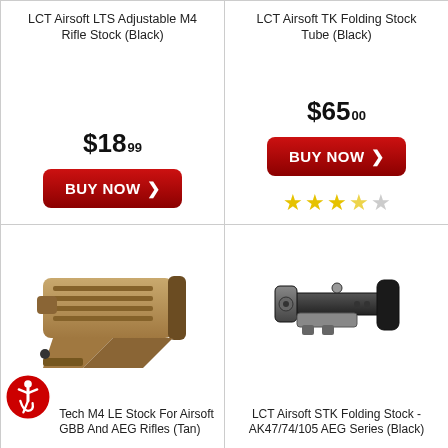LCT Airsoft LTS Adjustable M4 Rifle Stock (Black)
$18.99
[Figure (other): Red BUY NOW button with arrow]
LCT Airsoft TK Folding Stock Tube (Black)
$65.00
[Figure (other): Red BUY NOW button with arrow]
3.5 star rating
[Figure (photo): Tan/FDE M4 LE stock for airsoft GBB and AEG rifles]
Tech M4 LE Stock For Airsoft GBB And AEG Rifles (Tan)
[Figure (photo): Black LCT Airsoft STK folding stock for AK47/74/105 AEG series]
LCT Airsoft STK Folding Stock - AK47/74/105 AEG Series (Black)